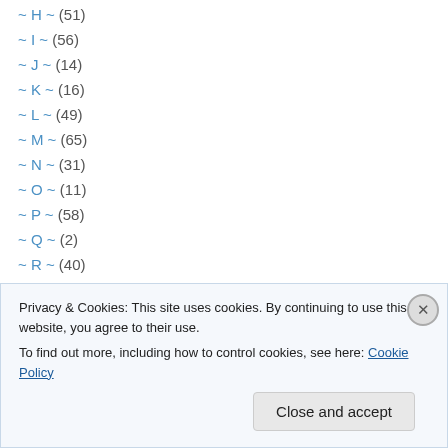~ H ~ (51)
~ I ~ (56)
~ J ~ (14)
~ K ~ (16)
~ L ~ (49)
~ M ~ (65)
~ N ~ (31)
~ O ~ (11)
~ P ~ (58)
~ Q ~ (2)
~ R ~ (40)
~ S ~ (119)
~ T ~ (83)
Privacy & Cookies: This site uses cookies. By continuing to use this website, you agree to their use.
To find out more, including how to control cookies, see here: Cookie Policy